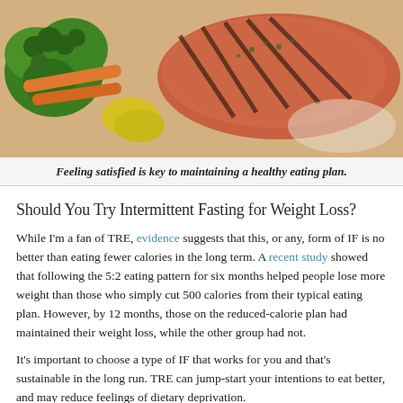[Figure (photo): Close-up photo of a grilled salmon fillet with grill marks, served alongside broccoli, carrots, and yellow bell peppers on a plate.]
Feeling satisfied is key to maintaining a healthy eating plan.
Should You Try Intermittent Fasting for Weight Loss?
While I'm a fan of TRE, evidence suggests that this, or any, form of IF is no better than eating fewer calories in the long term. A recent study showed that following the 5:2 eating pattern for six months helped people lose more weight than those who simply cut 500 calories from their typical eating plan. However, by 12 months, those on the reduced-calorie plan had maintained their weight loss, while the other group had not.
It's important to choose a type of IF that works for you and that's sustainable in the long run. TRE can jump-start your intentions to eat better, and may reduce feelings of dietary deprivation.